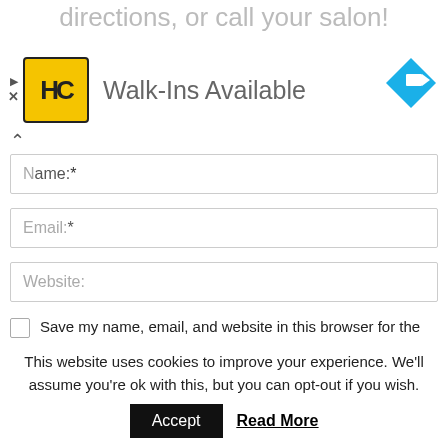directions, or call your salon!
[Figure (logo): HC logo — yellow square with HC letters and black border]
Walk-Ins Available
[Figure (other): Blue diamond navigation/directions icon with white arrow]
Name:*
Email:*
Website:
Save my name, email, and website in this browser for the next time I comment.
Notify me of follow-up comments by email.
This website uses cookies to improve your experience. We'll assume you're ok with this, but you can opt-out if you wish.
Accept
Read More